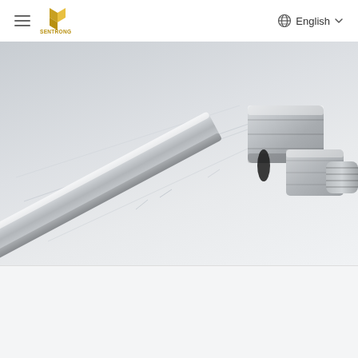≡  SENTRONG | English ∨
[Figure (photo): Close-up photograph of a stainless steel hydraulic or pneumatic tube fitting with hex nut and threaded connector end, against a light gray/white background. A technical blueprint drawing is partially visible underneath the fitting.]